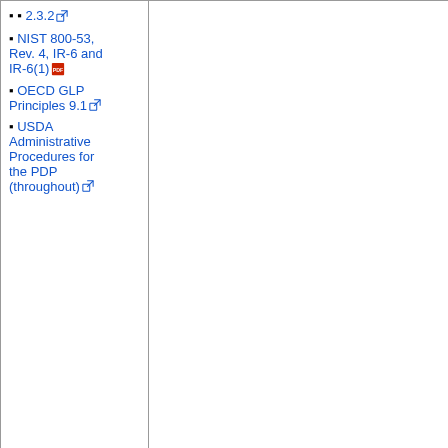2.3.2
NIST 800-53, Rev. 4, IR-6 and IR-6(1)
OECD GLP Principles 9.1
USDA Administrative Procedures for the PDP (throughout)
21 CFR Part 58 Sec. 58.185 (c)
AAVLD Requirements for an AVMDL Sec. 5.10.9–10
ISO/IEC 17025:2017 7.8.8
OECD GLP Principles 9.1
6.9 The system shall clearly identify a changed, amended, or re-issued report as being such, and clearly identify any change of information and reason for change in such a report.